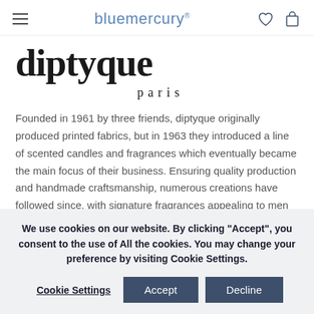bluemercury
[Figure (logo): diptyque paris logo in large serif black text]
Founded in 1961 by three friends, diptyque originally produced printed fabrics, but in 1963 they introduced a line of scented candles and fragrances which eventually became the main focus of their business. Ensuring quality production and handmade craftsmanship, numerous creations have followed since, with signature fragrances appealing to men and women alike.
We use cookies on our website. By clicking "Accept", you consent to the use of All the cookies. You may change your preference by visiting Cookie Settings.
Cookie Settings  Accept  Decline